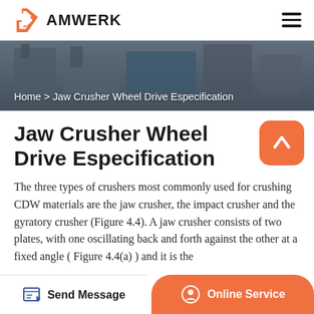AMWERK
[Figure (photo): Industrial machinery/crusher equipment hero image with overlay]
Home > Jaw Crusher Wheel Drive Especification
Jaw Crusher Wheel Drive Especification
The three types of crushers most commonly used for crushing CDW materials are the jaw crusher, the impact crusher and the gyratory crusher (Figure 4.4). A jaw crusher consists of two plates, with one oscillating back and forth against the other at a fixed angle ( Figure 4.4(a) ) and it is the
Send Message | Online Service